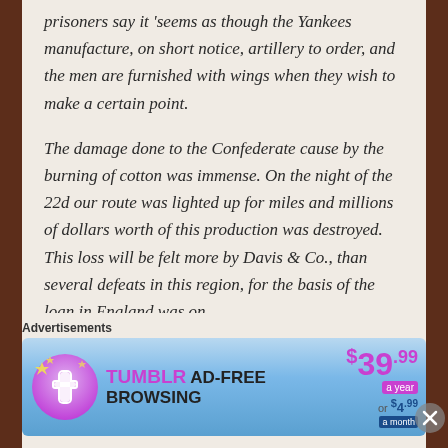prisoners say it 'seems as though the Yankees manufacture, on short notice, artillery to order, and the men are furnished with wings when they wish to make a certain point.
The damage done to the Confederate cause by the burning of cotton was immense. On the night of the 22d our route was lighted up for miles and millions of dollars worth of this production was destroyed. This loss will be felt more by Davis & Co., than several defeats in this region, for the basis of the loan in England was on
Advertisements
[Figure (other): Tumblr Ad-Free Browsing advertisement banner: $39.99 a year or $4.99 a month]